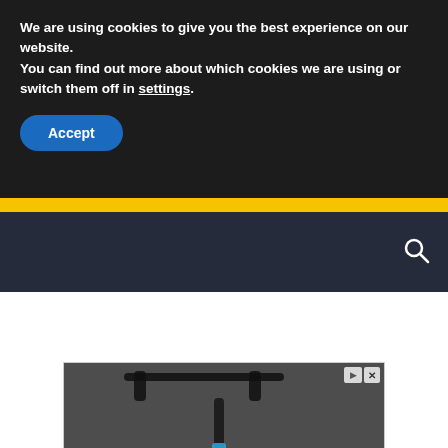We are using cookies to give you the best experience on our website.
You can find out more about which cookies we are using or switch them off in settings.
Accept
[Figure (screenshot): Website navigation bar with dark background and search icon]
[Figure (photo): Advertisement banner showing an electric scooter with text 'Download Helbiz and ride']